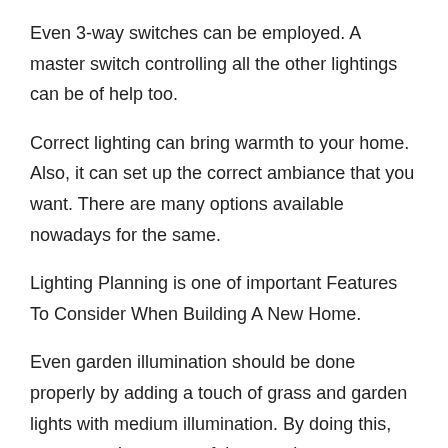Even 3-way switches can be employed. A master switch controlling all the other lightings can be of help too.
Correct lighting can bring warmth to your home. Also, it can set up the correct ambiance that you want. There are many options available nowadays for the same.
Lighting Planning is one of important Features To Consider When Building A New Home.
Even garden illumination should be done properly by adding a touch of grass and garden lights with medium illumination. By doing this, you can enjoy a peaceful atmosphere.
Driveways and garage should be kept well-lit for safety.